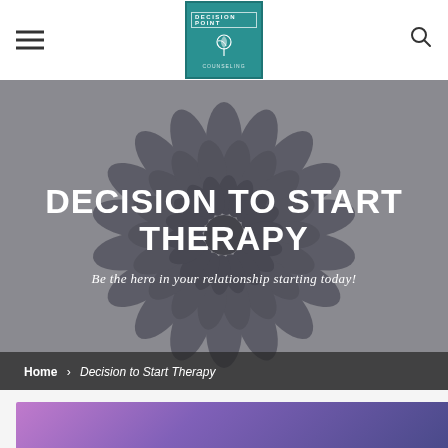[Figure (logo): Decision Point logo — teal square with bracketed text and leaf/plant icon]
DECISION TO START THERAPY
Be the hero in your relationship starting today!
Home > Decision to Start Therapy
[Figure (photo): Partial view of a purple/violet gradient background image at bottom of page]